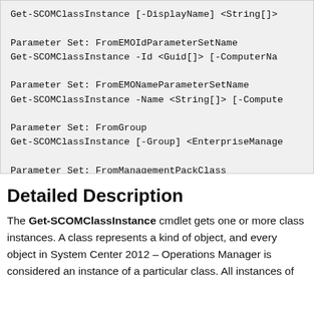Get-SCOMClassInstance [-DisplayName] <String[]>

Parameter Set: FromEMOIdParameterSetName
Get-SCOMClassInstance -Id <Guid[]> [-ComputerNa

Parameter Set: FromEMONameParameterSetName
Get-SCOMClassInstance -Name <String[]> [-Compute

Parameter Set: FromGroup
Get-SCOMClassInstance [-Group] <EnterpriseManage

Parameter Set: FromManagementPackClass
Get-SCOMClassInstance [-Class] <ManagementPackCl
Detailed Description
The Get-SCOMClassInstance cmdlet gets one or more class instances. A class represents a kind of object, and every object in System Center 2012 – Operations Manager is considered an instance of a particular class. All instances of